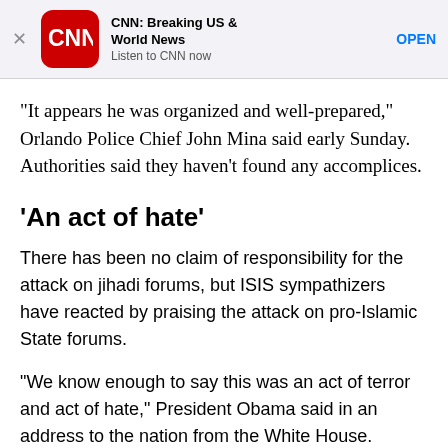[Figure (screenshot): CNN app advertisement banner with CNN logo (red rounded square), bold title 'CNN: Breaking US & World News', subtitle 'Listen to CNN now', and blue 'OPEN' button. An X close button is at the left.]
“It appears he was organized and well-prepared,” Orlando Police Chief John Mina said early Sunday. Authorities said they haven’t found any accomplices.
‘An act of hate’
There has been no claim of responsibility for the attack on jihadi forums, but ISIS sympathizers have reacted by praising the attack on pro-Islamic State forums.
“We know enough to say this was an act of terror and act of hate,” President Obama said in an address to the nation from the White House.